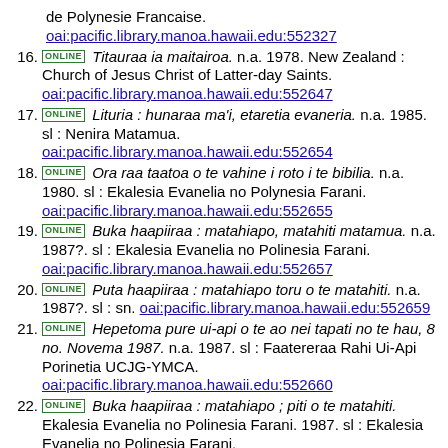de Polynesie Francaise. oai:pacific.library.manoa.hawaii.edu:552327
16. ONLINE Titauraa ia maitairoa. n.a. 1978. New Zealand : Church of Jesus Christ of Latter-day Saints. oai:pacific.library.manoa.hawaii.edu:552647
17. ONLINE Lituria : hunaraa ma'i, etaretia evaneria. n.a. 1985. sl : Nenira Matamua. oai:pacific.library.manoa.hawaii.edu:552654
18. ONLINE Ora raa taatoa o te vahine i roto i te bibilia. n.a. 1980. sl : Ekalesia Evanelia no Polynesia Farani. oai:pacific.library.manoa.hawaii.edu:552655
19. ONLINE Buka haapiiraa : matahiapo, matahiti matamua. n.a. 1987?. sl : Ekalesia Evanelia no Polinesia Farani. oai:pacific.library.manoa.hawaii.edu:552657
20. ONLINE Puta haapiiraa : matahiapo toru o te matahiti. n.a. 1987?. sl : sn. oai:pacific.library.manoa.hawaii.edu:552659
21. ONLINE Hepetoma pure ui-api o te ao nei tapati no te hau, 8 no. Novema 1987. n.a. 1987. sl : Faatereraa Rahi Ui-Api Porinetia UCJG-YMCA. oai:pacific.library.manoa.hawaii.edu:552660
22. ONLINE Buka haapiiraa : matahiapo ; piti o te matahiti. Ekalesia Evanelia no Polinesia Farani. 1987. sl : Ekalesia Evanelia no Polinesia Farani. oai:pacific.library.manoa.hawaii.edu:553273
23. ONLINE Teran a'su ta. n.a. 1974. Suva : Bible Society in the South Pacific. oai:pacific.library.manoa.hawaii.edu:553561
24. ONLINE Buka haapiiraa no te mau po utuafare. n.a. 1979. Auckland, New Zealand : Church of Jesus Christ of Latter